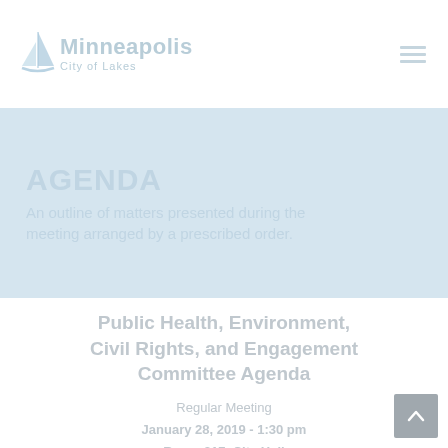[Figure (logo): Minneapolis City of Lakes logo with sailboat icon and stylized text]
AGENDA
An outline of matters presented during the meeting arranged by a prescribed order.
Public Health, Environment, Civil Rights, and Engagement Committee Agenda
Regular Meeting
January 28, 2019 - 1:30 pm
Room 317, City Hall